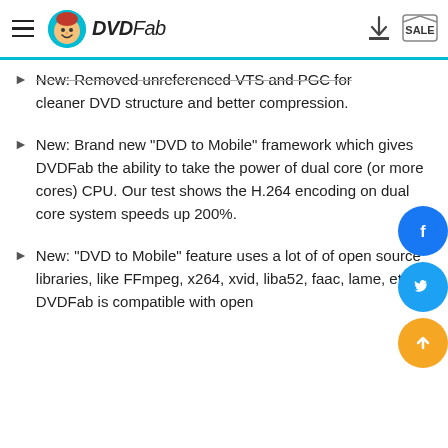DVDFab
New: Removed unreferenced VTS and PGC for cleaner DVD structure and better compression.
New: Brand new "DVD to Mobile" framework which gives DVDFab the ability to take the power of dual core (or more cores) CPU. Our test shows the H.264 encoding on dual core system speeds up 200%.
New: "DVD to Mobile" feature uses a lot of of open source libraries, like FFmpeg, x264, xvid, liba52, faac, lame, etc. DVDFab is compatible with open